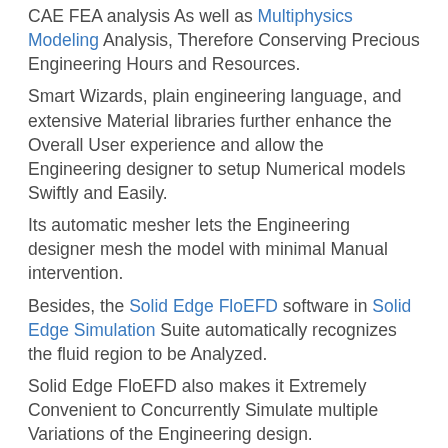CAE FEA analysis As well as Multiphysics Modeling Analysis, Therefore Conserving Precious Engineering Hours and Resources. Smart Wizards, plain engineering language, and extensive Material libraries further enhance the Overall User experience and allow the Engineering designer to setup Numerical models Swiftly and Easily. Its automatic mesher lets the Engineering designer mesh the model with minimal Manual intervention. Besides, the Solid Edge FloEFD software in Solid Edge Simulation Suite automatically recognizes the fluid region to be Analyzed. Solid Edge FloEFD also makes it Extremely Convenient to Concurrently Simulate multiple Variations of the Engineering design. The Product designer simply Changes the 3D model in CAD, and Solid Edge FloEFD automatically